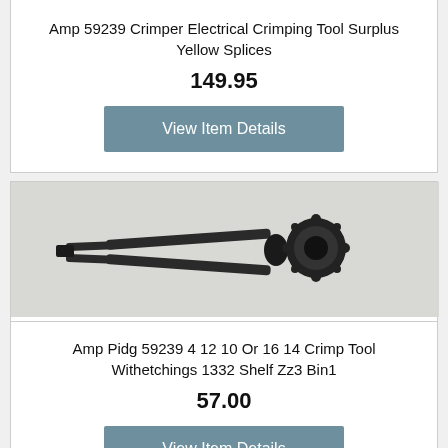Amp 59239 Crimper Electrical Crimping Tool Surplus Yellow Splices
149.95
View Item Details
[Figure (photo): Photo of a black metal crimping tool (Amp Pidg 59239) with two long handles and a round crimping head, lying on a white surface.]
Amp Pidg 59239 4 12 10 Or 16 14 Crimp Tool Withetchings 1332 Shelf Zz3 Bin1
57.00
View Item Details